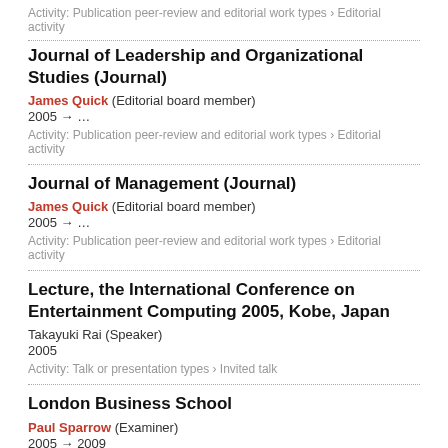Activity: Publication peer-review and editorial work types › Editorial activity
Journal of Leadership and Organizational Studies (Journal)
James Quick (Editorial board member)
2005 → …
Activity: Publication peer-review and editorial work types › Editorial activity
Journal of Management (Journal)
James Quick (Editorial board member)
2005 → …
Activity: Publication peer-review and editorial work types › Editorial activity
Lecture, the International Conference on Entertainment Computing 2005, Kobe, Japan
Takayuki Rai (Speaker)
2005
Activity: Talk or presentation types › Invited talk
London Business School
Paul Sparrow (Examiner)
2005 → 2009
Activity: Visiting an external institution types › Visiting an external academic institution